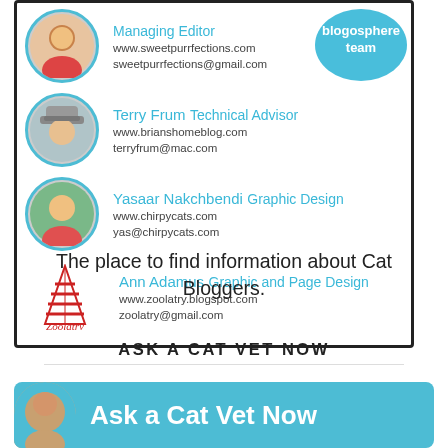[Figure (infographic): Blogosphere team card showing Managing Editor (www.sweetpurrfections.com), Terry Frum Technical Advisor (www.brianshomeblog.com), Yasaar Nakchbendi Graphic Design (www.chirpycats.com), Ann Adamus Graphic and Page Design (www.zoolatry.blogspot.com), with circular avatar photos and a 'blogosphere team' badge]
The place to find information about Cat Bloggers.
ASK A CAT VET NOW
[Figure (infographic): Teal banner with circular avatar photo of man and text 'Ask a Cat Vet Now']